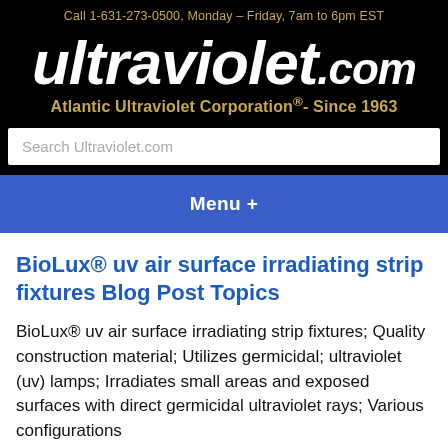Call 1-631-273-0500, Monday – Friday, 7am to 6pm EST
[Figure (logo): ultraviolet.com logo in bold white italic text on black background with tagline 'Atlantic Ultraviolet Corporation®- Since 1963' in gold]
Search Ultraviolet.com
Menu +
BioLux® uv air surface irradiating strip fixtures Blog Post Topics
BioLux® uv air surface irradiating strip fixtures; Quality construction material; Utilizes germicidal; ultraviolet (uv) lamps; Irradiates small areas and exposed surfaces with direct germicidal ultraviolet rays; Various configurations